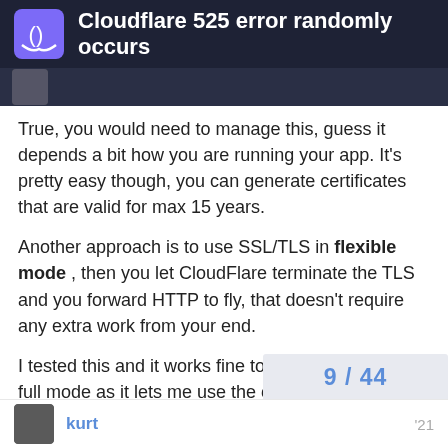Cloudflare 525 error randomly occurs
True, you would need to manage this, guess it depends a bit how you are running your app. It's pretty easy though, you can generate certificates that are valid for max 15 years.
Another approach is to use SSL/TLS in flexible mode , then you let CloudFlare terminate the TLS and you forward HTTP to fly, that doesn't require any extra work from your end.
I tested this and it works fine too. I personally prefer full mode as it lets me use the origin certs to setup self-signed HTTPS locally too, gives me better parity between local and production.
9 / 44
kurt '21